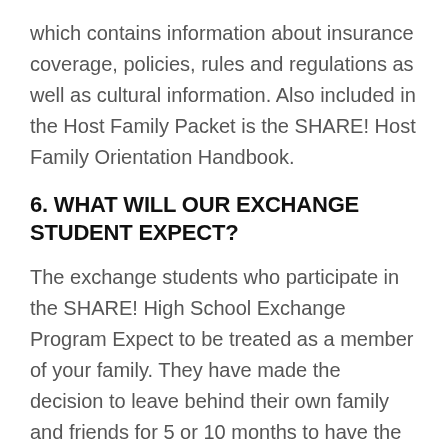which contains information about insurance coverage, policies, rules and regulations as well as cultural information. Also included in the Host Family Packet is the SHARE! Host Family Orientation Handbook.
6. WHAT WILL OUR EXCHANGE STUDENT EXPECT?
The exchange students who participate in the SHARE! High School Exchange Program Expect to be treated as a member of your family. They have made the decision to leave behind their own family and friends for 5 or 10 months to have the experience of living with an American family and attending an American high school. The international students are as diverse as the American families that host them. S...